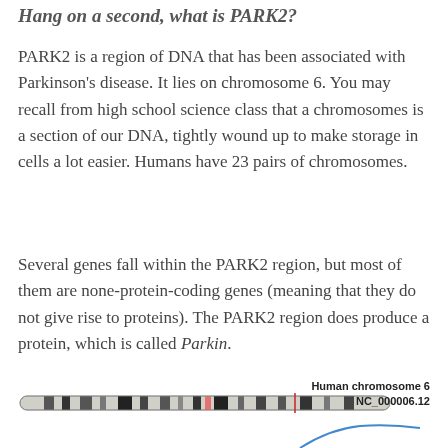Hang on a second, what is PARK2?
PARK2 is a region of DNA that has been associated with Parkinson's disease. It lies on chromosome 6. You may recall from high school science class that a chromosomes is a section of our DNA, tightly wound up to make storage in cells a lot easier. Humans have 23 pairs of chromosomes.
Several genes fall within the PARK2 region, but most of them are none-protein-coding genes (meaning that they do not give rise to proteins). The PARK2 region does produce a protein, which is called Parkin.
[Figure (other): Human chromosome 6 ideogram showing banding pattern with NC_000006.12 label, with a partial view of a genomic diagram below]